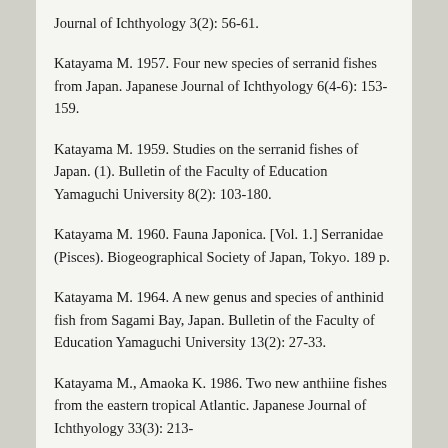Journal of Ichthyology 3(2): 56-61.
Katayama M. 1957. Four new species of serranid fishes from Japan. Japanese Journal of Ichthyology 6(4-6): 153-159.
Katayama M. 1959. Studies on the serranid fishes of Japan. (1). Bulletin of the Faculty of Education Yamaguchi University 8(2): 103-180.
Katayama M. 1960. Fauna Japonica. [Vol. 1.] Serranidae (Pisces). Biogeographical Society of Japan, Tokyo. 189 p.
Katayama M. 1964. A new genus and species of anthinid fish from Sagami Bay, Japan. Bulletin of the Faculty of Education Yamaguchi University 13(2): 27-33.
Katayama M., Amaoka K. 1986. Two new anthiine fishes from the eastern tropical Atlantic. Japanese Journal of Ichthyology 33(3): 213-